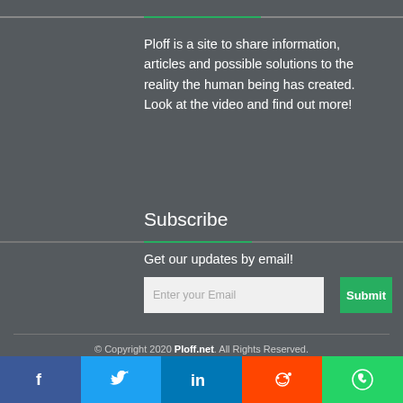Ploff is a site to share information, articles and possible solutions to the reality the human being has created. Look at the video and find out more!
Subscribe
Get our updates by email!
© Copyright 2020 Ploff.net. All Rights Reserved.